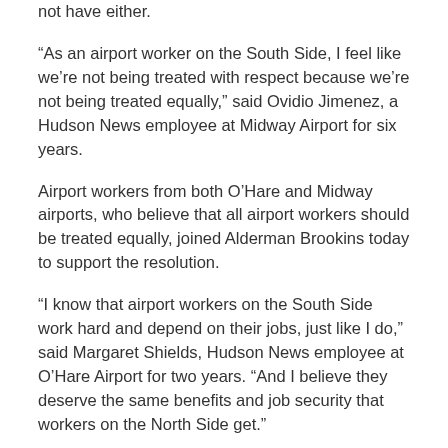not have either.
“As an airport worker on the South Side, I feel like we’re not being treated with respect because we’re not being treated equally,” said Ovidio Jimenez, a Hudson News employee at Midway Airport for six years.
Airport workers from both O’Hare and Midway airports, who believe that all airport workers should be treated equally, joined Alderman Brookins today to support the resolution.
“I know that airport workers on the South Side work hard and depend on their jobs, just like I do,” said Margaret Shields, Hudson News employee at O’Hare Airport for two years. “And I believe they deserve the same benefits and job security that workers on the North Side get.”
###